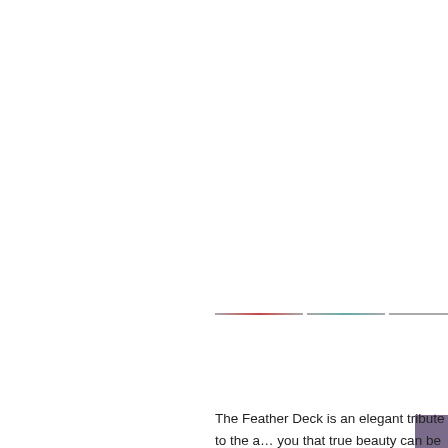[Figure (photo): Large image area, mostly white/blank, with a decorative horizontal line with colored segments (red and teal) visible in the lower right portion of the image area around y=310.]
The Feather Deck is an elegant tribute to the a... you that true beauty can be found in the simple...
This special custom deck of cards is the resul...